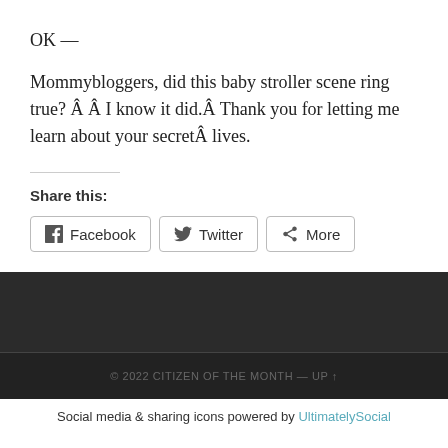OK —
Mommybloggers, did this baby stroller scene ring true? Â Â  I know it did.Â  Thank you for letting me learn about your secretÂ lives.
Share this:
Facebook  Twitter  More
© 2022 CITIZEN OF THE MONTH — UP ↑
Social media & sharing icons powered by UltimatelySocial